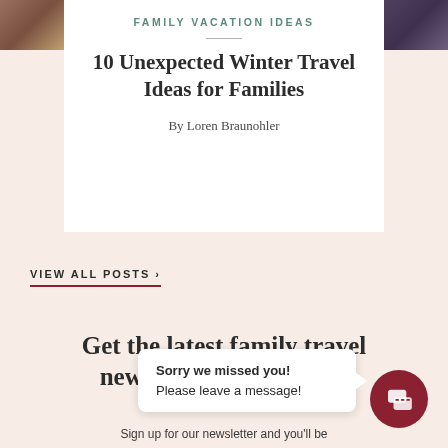[Figure (photo): Thumbnail image on left side, brownish tones]
FAMILY VACATION IDEAS
[Figure (photo): Thumbnail image on right side, dark purple/grey tones]
10 Unexpected Winter Travel Ideas for Families
By Loren Braunohler
VIEW ALL POSTS ›
Get the latest family travel news, exclusive deals &
Sign up for our newsletter and you'll be
Sorry we missed you!
Please leave a message!